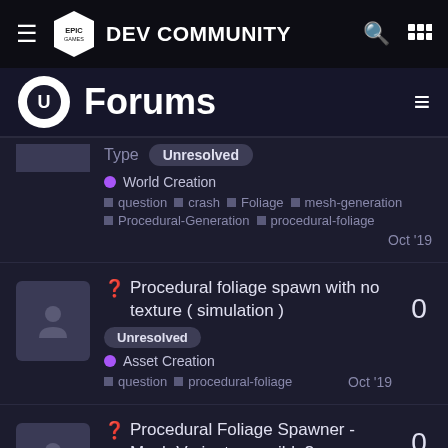Epic Games Dev Community
Forums
Type Unresolved
● World Creation
■ question ■ crash ■ Foliage ■ mesh-generation ■ Procedural-Generation ■ procedural-foliage
Oct '19
❓ Procedural foliage spawn with no texture ( simulation ) Unresolved
● Asset Creation
■ question ■ procedural-foliage
Oct '19
0
❓ Procedural Foliage Spawner - Mesh Variants possible?
0